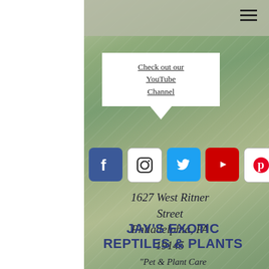[Figure (screenshot): Navigation hamburger menu icon (three horizontal lines) in top right]
Check out our YouTube Channel
[Figure (infographic): Row of 5 social media icons: Facebook (blue), Instagram (white/black), Twitter (blue), YouTube (red), Pinterest (white/red)]
1627 West Ritner Street Philadelphia, PA 19145
JAY'S EXOTIC REPTILES & PLANTS
"Pet & Plant Care